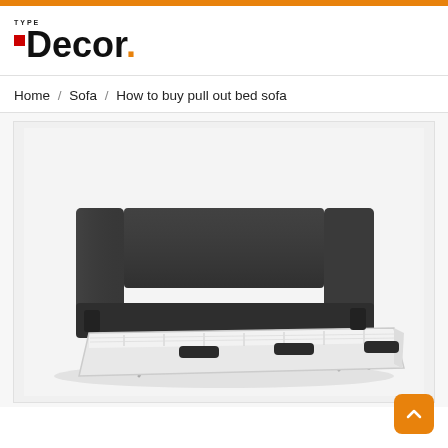Type Decor.
Home / Sofa / How to buy pull out bed sofa
[Figure (photo): A dark charcoal/grey pull-out sofa bed shown with the bed extended, revealing a white mattress on a metal frame, photographed on a white background.]